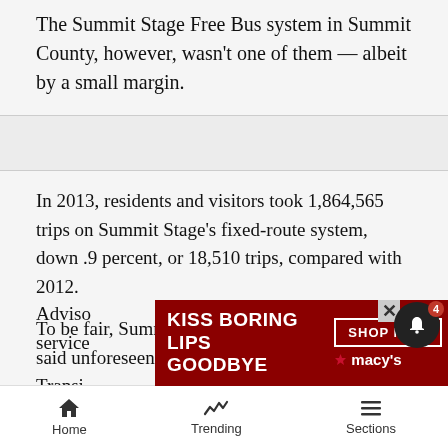The Summit Stage Free Bus system in Summit County, however, wasn't one of them — albeit by a small margin.
In 2013, residents and visitors took 1,864,565 trips on Summit Stage's fixed-route system, down .9 percent, or 18,510 trips, compared with 2012.
To be fair, Summit Stage director Jim Andrew said unforeseen cost increases for fuel forced the Transit Advisory...service...said,
[Figure (other): Macy's advertisement banner: KISS BORING LIPS GOODBYE with SHOP NOW button and Macy's logo, featuring a woman's face with red lips]
Home  Trending  Sections